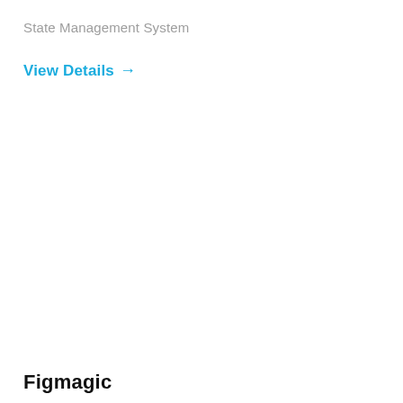State Management System
View Details →
Figmagic